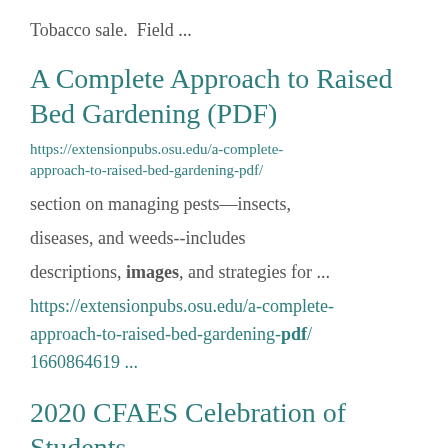Tobacco sale.  Field ...
A Complete Approach to Raised Bed Gardening (PDF)
https://extensionpubs.osu.edu/a-complete-approach-to-raised-bed-gardening-pdf/
section on managing pests—insects, diseases, and weeds--includes descriptions, images, and strategies for ... https://extensionpubs.osu.edu/a-complete-approach-to-raised-bed-gardening-pdf/ 1660864619 ...
2020 CFAES Celebration of Students...